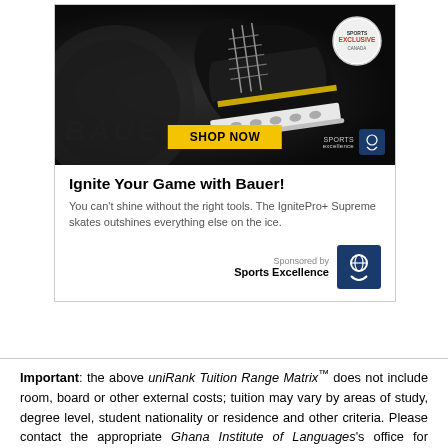[Figure (illustration): Bauer hockey skate advertisement banner with dark background, skate image, 'SHOP NOW' yellow button, Sports Excellence logo, and 'EXCLUSIVE' badge]
Ignite Your Game with Bauer!
You can't shine without the right tools. The IgnitePro+ Supreme skates outshines everything else on the ice.
Sponsored by Sports Excellence
Important: the above uniRank Tuition Range Matrix™ does not include room, board or other external costs; tuition may vary by areas of study, degree level, student nationality or residence and other criteria. Please contact the appropriate Ghana Institute of Languages's office for detailed information on yearly tuitions which apply to your specific situation and study interest; the above uniRank Tuition Range Matrix™ is indicative only and may not be up-to-date or complete.